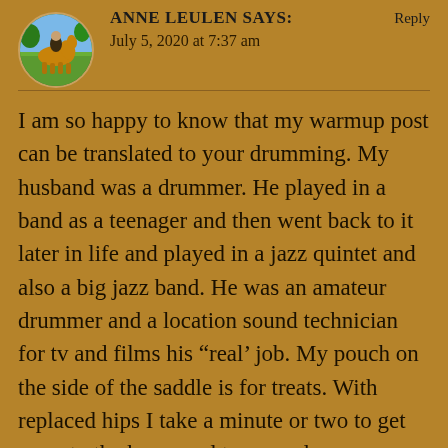[Figure (photo): Circular avatar photo of a person on horseback on a green lawn]
ANNE LEULEN says:
July 5, 2020 at 7:37 am
I am so happy to know that my warmup post can be translated to your drumming. My husband was a drummer. He played in a band as a teenager and then went back to it later in life and played in a jazz quintet and also a big jazz band. He was an amateur drummer and a location sound technician for tv and films his “real’ job. My pouch on the side of the saddle is for treats. With replaced hips I take a minute or two to get up onto the horse and to reward